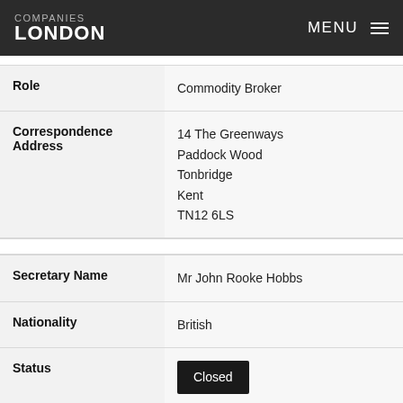COMPANIES LONDON   MENU
| Field | Value |
| --- | --- |
| Role | Commodity Broker |
| Correspondence Address | 14 The Greenways
Paddock Wood
Tonbridge
Kent
TN12 6LS |
| Field | Value |
| --- | --- |
| Secretary Name | Mr John Rooke Hobbs |
| Nationality | British |
| Status | Closed |
| Appointed | 28 November 1991 (70 years, 9 months after company formation) |